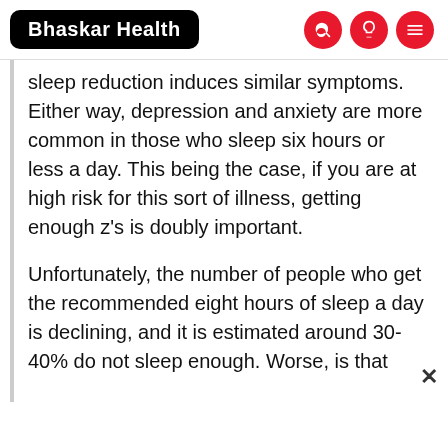Bhaskar Health
sleep reduction induces similar symptoms. Either way, depression and anxiety are more common in those who sleep six hours or less a day. This being the case, if you are at high risk for this sort of illness, getting enough z's is doubly important.
Unfortunately, the number of people who get the recommended eight hours of sleep a day is declining, and it is estimated around 30-40% do not sleep enough. Worse, is that